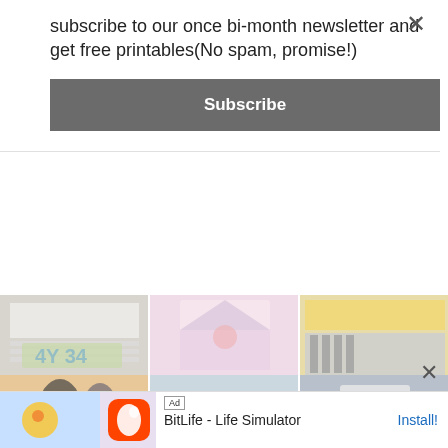[Figure (screenshot): Background image grid showing crafts: numbered tiles (4Y 34), floral envelope, pencil roll, thermos/bottles, food items, folded fabric]
subscribe to our once bi-month newsletter and get free printables(No spam, promise!)
Subscribe
[Figure (screenshot): Ad banner: BitLife - Life Simulator game advertisement with Install button]